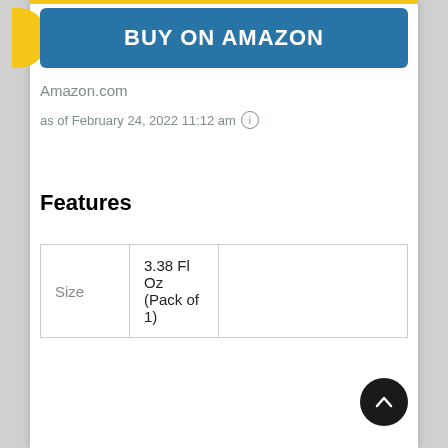BUY ON AMAZON
Amazon.com
as of February 24, 2022 11:12 am ℹ
Features
| Size |  |  |
| --- | --- | --- |
| Size | 3.38 Fl Oz (Pack of 1) |  |